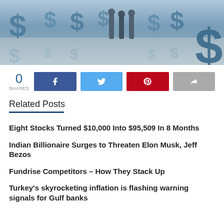[Figure (photo): Hero image showing businessmen standing among large 3D dollar signs on a reflective surface, with blue-toned color scheme]
0
SHARES
[Figure (other): Social share buttons: Facebook (blue), Twitter (light blue), Pinterest (red), Share (gray)]
Related Posts
Eight Stocks Turned $10,000 Into $95,509 In 8 Months
Indian Billionaire Surges to Threaten Elon Musk, Jeff Bezos
Fundrise Competitors – How They Stack Up
Turkey's skyrocketing inflation is flashing warning signals for Gulf banks